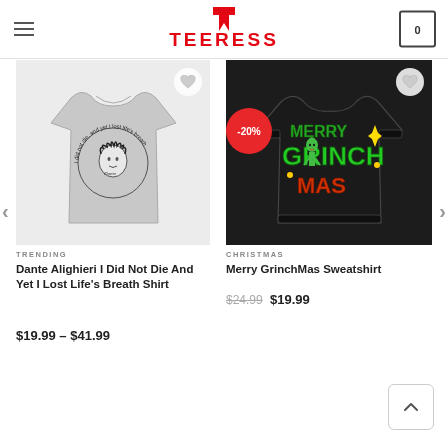TEERESS
RELATED PRODUCTS
[Figure (photo): Gray t-shirt with circular text reading 'I did not die, and yet I lost life's breath' with a face graphic labeled Dante in the center]
TRENDING
Dante Alighieri I Did Not Die And Yet I Lost Life's Breath Shirt
$19.99 – $41.99
[Figure (photo): Black sweatshirt with Merry GrinchMas holiday graphic on the back, with -20% sale badge]
CHRISTMAS
Merry GrinchMas Sweatshirt
$24.99  $19.99